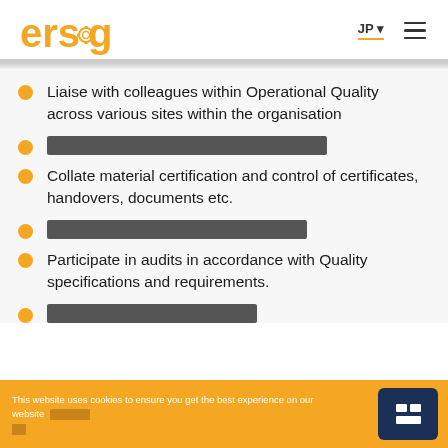ersg | JP
Liaise with colleagues within Operational Quality across various sites within the organisation
[redacted]
Collate material certification and control of certificates, handovers, documents etc.
[redacted]
Participate in audits in accordance with Quality specifications and requirements.
[redacted]
This website uses cookies to ensure you get the best experience on our website [redacted]